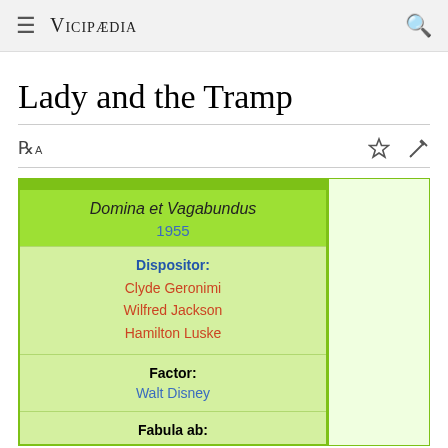≡  VICIPÆDIA  🔍
Lady and the Tramp
| Domina et Vagabundus | 1955 |
| Dispositor: | Clyde Geronimi
Wilfred Jackson
Hamilton Luske |
| Factor: | Walt Disney |
| Fabula ab: |  |